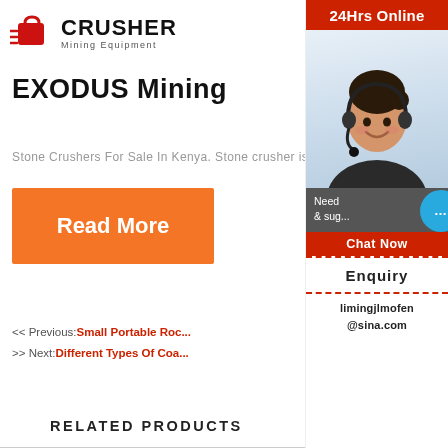[Figure (logo): Crusher Mining Equipment logo with red bag icon and bold CRUSHER text]
EXODUS Mining
Stone Crushers For Sale In Kenya. Stone crusher is used sta...
Read More
<< Previous: Small Portable Roc...
>> Next: Different Types Of Coa...
RELATED PRODUCTS
[Figure (photo): Sidebar with 24Hrs Online header, photo of female customer service agent with headset, Need help & suggestions chat area, Chat Now button, Enquiry link, and email limingjlmofen@sina.com]